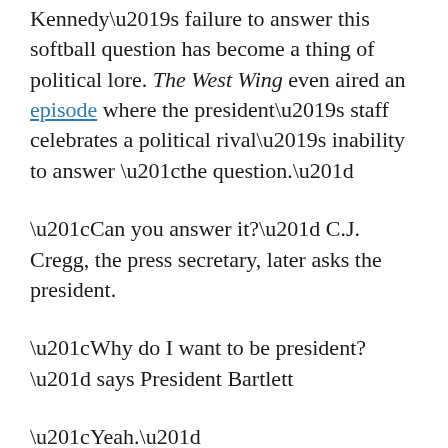Kennedy's failure to answer this softball question has become a thing of political lore. The West Wing even aired an episode where the president's staff celebrates a political rival's inability to answer “the question.”
“Can you answer it?” C.J. Cregg, the press secretary, later asks the president.
“Why do I want to be president?” says President Bartlett
“Yeah.”
“I’ve been thinking about it for the last couple of hours,” the president responds, and pauses. “I almost have it.”